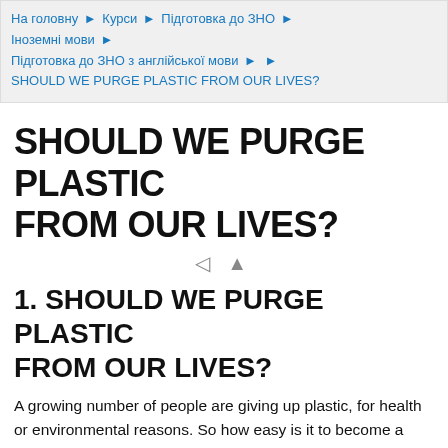На головну ► Курси ► Підготовка до ЗНО ► Іноземні мови ► Підготовка до ЗНО з англійської мови ► ► SHOULD WE PURGE PLASTIC FROM OUR LIVES?
SHOULD WE PURGE PLASTIC FROM OUR LIVES?
1. SHOULD WE PURGE PLASTIC FROM OUR LIVES?
A growing number of people are giving up plastic, for health or environmental reasons. So how easy is it to become a plasticarian? And what would you struggle to give up?
Last weekend, while visiting her aunt, Juliette Scarfe conducted an impromptu "purity audit", sweeping through the house and discarding plastic products. She's done the same for others over the past two years, since deciding to purge all plastic from her